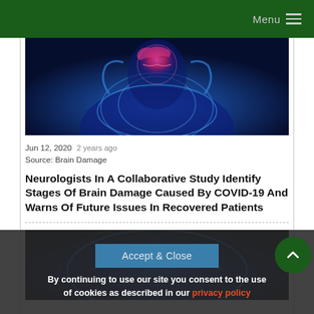Menu
[Figure (photo): Medical illustration of a human figure with glowing blue body and highlighted red/pink brain area, suggesting neurological damage or brain activity visualization]
Jun 12, 2020  2 years ago
Source: Brain Damage
Neurologists In A Collaborative Study Identify Stages Of Brain Damage Caused By COVID-19 And Warns Of Future Issues In Recovered Patients
[Figure (photo): Digital illustration of a glowing blue human brain viewed from above, on dark background]
By continuing to use our site you consent to the use of cookies as described in our privacy policy